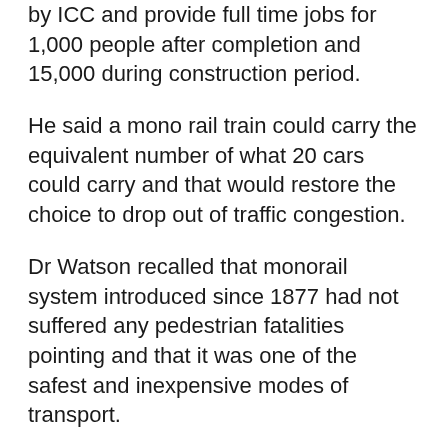by ICC and provide full time jobs for 1,000 people after completion and 15,000 during construction period.
He said a mono rail train could carry the equivalent number of what 20 cars could carry and that would restore the choice to drop out of traffic congestion.
Dr Watson recalled that monorail system introduced since 1877 had not suffered any pedestrian fatalities pointing and that it was one of the safest and inexpensive modes of transport.
He explained that time between trains would be as low as every three minutes to every nine minutes depending on their needs.